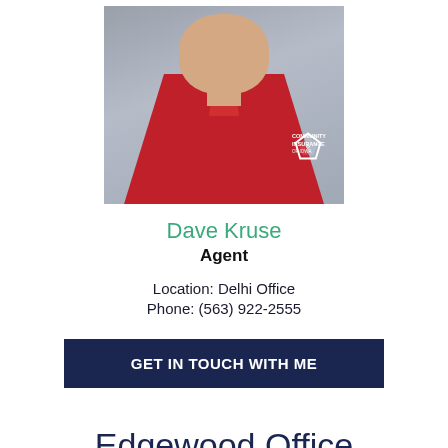[Figure (photo): Headshot of Dave Kruse, a man wearing a red Community Insurance of Iowa polo shirt, grey background.]
Dave Kruse
Agent
Location: Delhi Office
Phone: (563) 922-2555
GET IN TOUCH WITH ME
Edgewood Office